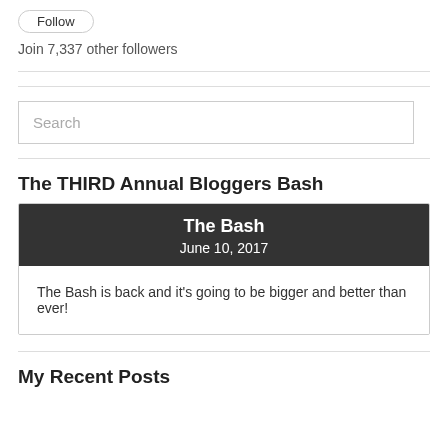[Figure (other): Follow button with rounded rectangle border]
Join 7,337 other followers
Search
The THIRD Annual Bloggers Bash
[Figure (infographic): The Bash event card with dark header showing 'The Bash' and 'June 10, 2017', and body text 'The Bash is back and it's going to be bigger and better than ever!']
My Recent Posts